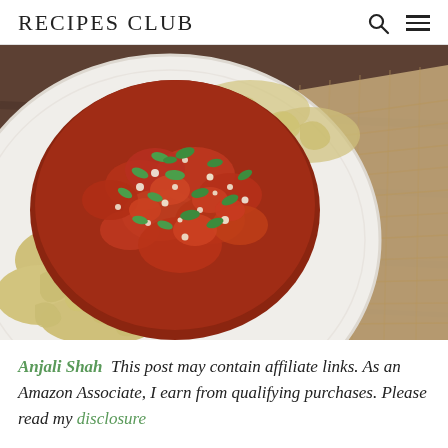RECIPES CLUB
[Figure (photo): Overhead close-up photo of pasta (rotini/fusilli) on a white ceramic plate, topped with a rich red tomato meat sauce garnished with fresh green herbs and grated parmesan cheese, on a burlap cloth over a dark wooden table.]
Anjali Shah  This post may contain affiliate links. As an Amazon Associate, I earn from qualifying purchases. Please read my disclosure